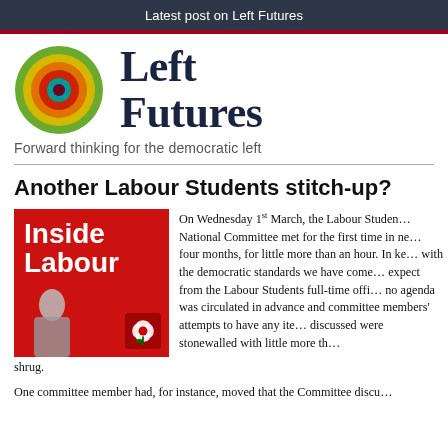Latest post on Left Futures
[Figure (logo): Left Futures logo with concentric circles in green, yellow, orange, red, and teal, alongside the text 'Left Futures']
Forward thinking for the democratic left
Another Labour Students stitch-up?
[Figure (photo): Red 'Inside Labour' graphic with Jeremy Corbyn photo and Labour rose logo]
On Wednesday 1st March, the Labour Students National Committee met for the first time in nearly four months, for little more than an hour. In keeping with the democratic standards we have come to expect from the Labour Students full-time officers, no agenda was circulated in advance and committee members' attempts to have any items discussed were stonewalled with little more than a shrug.
One committee member had, for instance, moved that the Committee discu